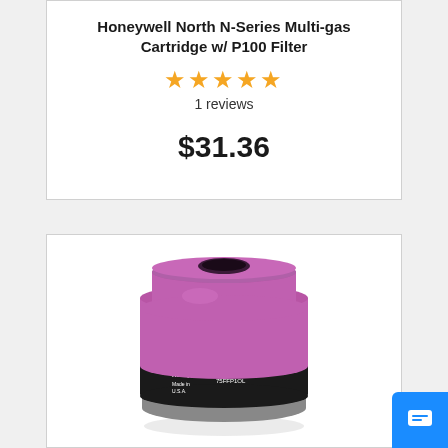Honeywell North N-Series Multi-gas Cartridge w/ P100 Filter
★★★★★
1 reviews
$31.36
[Figure (photo): Photo of a Honeywell North N-Series Multi-gas Cartridge with P100 Filter, cylindrical shape, purple/magenta top with a central hole, dark band with label around the middle, gray base.]